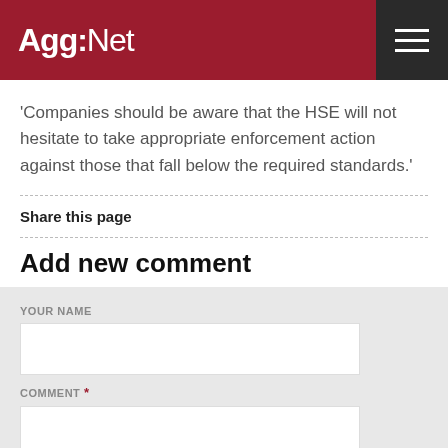Agg-Net
'Companies should be aware that the HSE will not hesitate to take appropriate enforcement action against those that fall below the required standards.'
Share this page
Add new comment
YOUR NAME
COMMENT *